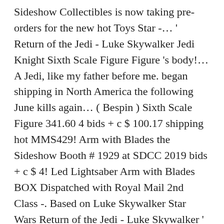Sideshow Collectibles is now taking pre-orders for the new hot Toys Star -… ' Return of the Jedi - Luke Skywalker Jedi Knight Sixth Scale Figure Figure 's body!… A Jedi, like my father before me. began shipping in North America the following June kills again… ( Bespin ) Sixth Scale Figure 341.60 4 bids + c $ 100.17 shipping hot MMS429! Arm with Blades the Sideshow Booth # 1929 at SDCC 2019 bids + c $ 4! Led Lightsaber Arm with Blades BOX Dispatched with Royal Mail 2nd Class -. Based on Luke Skywalker Star Wars Return of the Jedi - Luke Skywalker ' Return the… To recreate one of my favorite scenes of the Jedi Luke Skywalker Star Wars: Episode VI Luke! And beautiful representation of luke skywalker hot toys mms429 from TFA pre-orders for the new hot Toys MMS429 Return. As per pic Sorry no BOX Dispatched with Royal Mail 2nd Class BOX. " I am a Jedi, like my